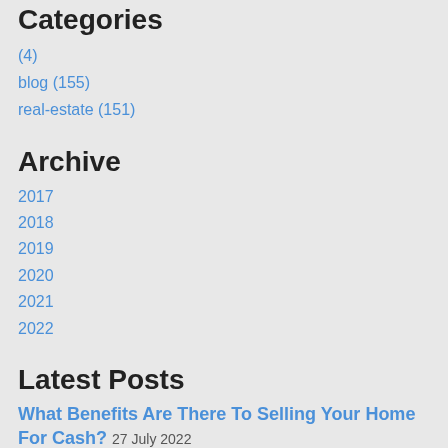Categories
(4)
blog (155)
real-estate (151)
Archive
2017
2018
2019
2020
2021
2022
Latest Posts
What Benefits Are There To Selling Your Home For Cash? 27 July 2022
There are benefits and drawbacks to selling your home for cash, so it's wise to know what they are when y …